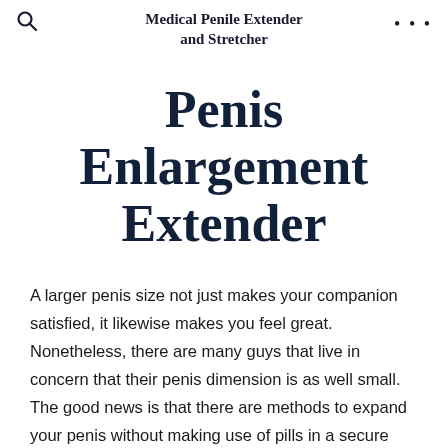Medical Penile Extender and Stretcher
Penis Enlargement Extender
A larger penis size not just makes your companion satisfied, it likewise makes you feel great. Nonetheless, there are many guys that live in concern that their penis dimension is as well small. The good news is that there are methods to expand your penis without making use of pills in a secure and efficient way. Penis Enlargement Extender